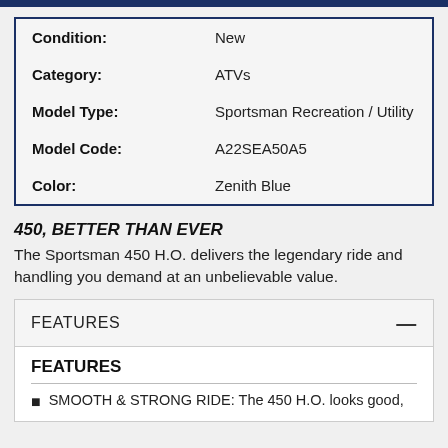| Field | Value |
| --- | --- |
| Condition: | New |
| Category: | ATVs |
| Model Type: | Sportsman Recreation / Utility |
| Model Code: | A22SEA50A5 |
| Color: | Zenith Blue |
450, BETTER THAN EVER
The Sportsman 450 H.O. delivers the legendary ride and handling you demand at an unbelievable value.
FEATURES
FEATURES
SMOOTH & STRONG RIDE: The 450 H.O. looks good,